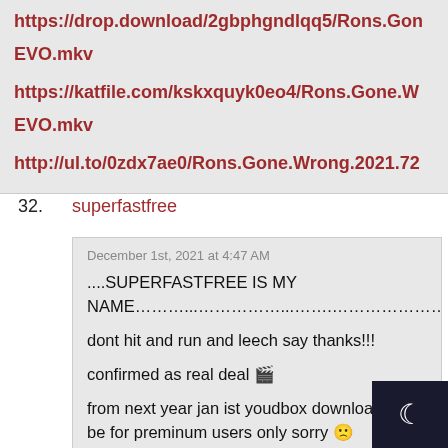https://drop.download/2gbphgndlqq5/Rons.Gon EVO.mkv
https://katfile.com/kskxquyk0eo4/Rons.Gone.W EVO.mkv
http://ul.to/0zdx7ae0/Rons.Gone.Wrong.2021.72
32. superfastfree
December 1st, 2021 at 4:47 AM
....SUPERFASTFREE IS MY NAME………...……………...…….…………………………...

dont hit and run and leech say thanks!!!

confirmed as real deal 🎬

from next year jan ist youdbox downloads will be for preminum users only sorry 🙁

if the movie links for this movie are pulled down simple dont worry no more i do fresh reupload